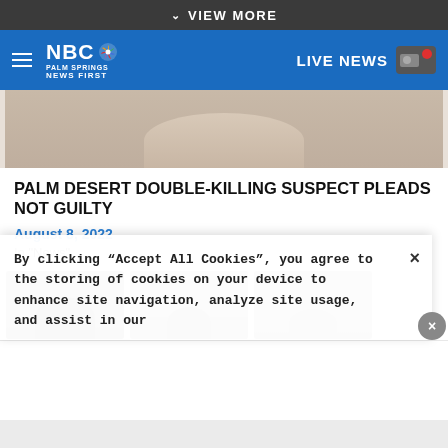VIEW MORE
[Figure (logo): NBC Palm Springs News First logo with hamburger menu and LIVE NEWS button in blue navigation bar]
[Figure (photo): Partial face/chin photo of a person, cropped mugshot style, beige/tan background]
PALM DESERT DOUBLE-KILLING SUSPECT PLEADS NOT GUILTY
August 8, 2022
In "News"
[Figure (photo): Three thumbnail mugshot-style images side by side, partially visible at bottom of article area]
By clicking “Accept All Cookies”, you agree to the storing of cookies on your device to enhance site navigation, analyze site usage, and assist in our